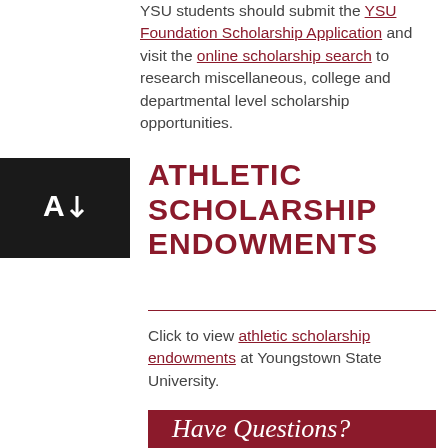YSU students should submit the YSU Foundation Scholarship Application and visit the online scholarship search to research miscellaneous, college and departmental level scholarship opportunities.
[Figure (logo): Black square icon with white 'A' and downward arrow symbol]
ATHLETIC SCHOLARSHIP ENDOWMENTS
Click to view athletic scholarship endowments at Youngstown State University.
Have Questions?